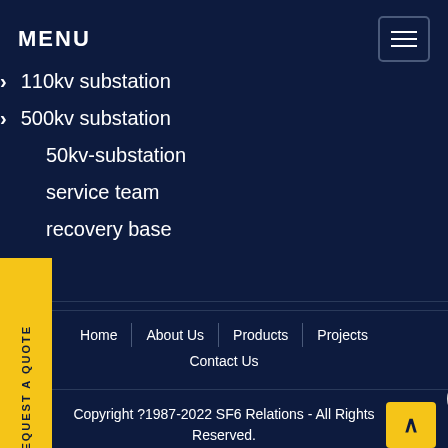MENU
110kv substation
500kv substation
50kv-substation
service team
recovery base
REQUEST A QUOTE
we can send you catalogue and price list for you choosing.
Leave us your email or whatsapp .
SF6 Expert   just now
Write a
Home | About Us | Products | Projects
Contact Us
Copyright ?1987-2022 SF6 Relations - All Rights Reserved.